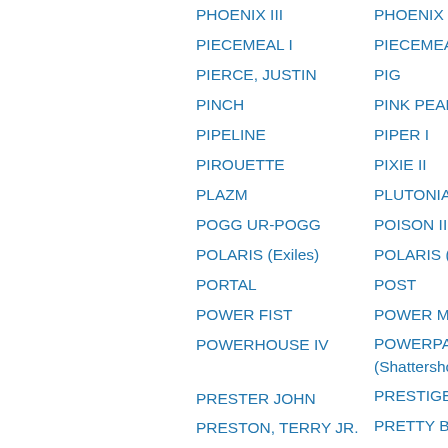PHOENIX III
PHOENIX IV
PIECEMEAL I
PIECEMEAL II
PIERCE, JUSTIN
PIG
PINCH
PINK PEARL
PIPELINE
PIPER I
PIROUETTE
PIXIE II
PLAZM
PLUTONIA
POGG UR-POGG
POISON II
POLARIS (Exiles)
POLARIS (Ultima…
PORTAL
POST
POWER FIST
POWER MAN III
POWERHOUSE IV
POWERPAX (Shattershot)
PRESTER JOHN
PRESTIGE
PRESTON, TERRY JR.
PRETTY BOY
PRIMAL II
PRIMATE
PRISM
PRODIGAL